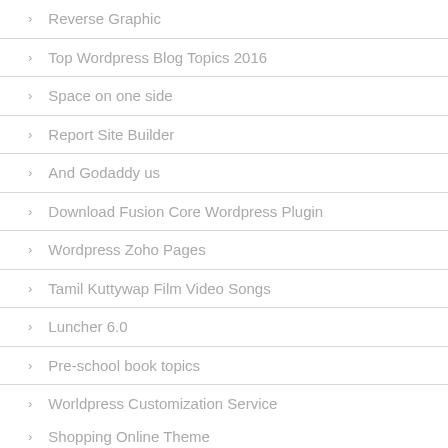Reverse Graphic
Top Wordpress Blog Topics 2016
Space on one side
Report Site Builder
And Godaddy us
Download Fusion Core Wordpress Plugin
Wordpress Zoho Pages
Tamil Kuttywap Film Video Songs
Luncher 6.0
Pre-school book topics
Worldpress Customization Service
Shopping Online Theme
Coole Restaurant Websites
Wordpress intranet theme free of charge
Download Google Chrome Themes